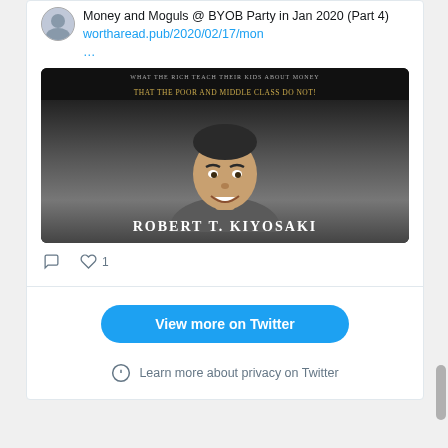Money and Moguls @ BYOB Party in Jan 2020 (Part 4) wortharead.pub/2020/02/17/mon …
[Figure (photo): Book cover of Rich Dad Poor Dad by Robert T. Kiyosaki showing the author's portrait against a dark background with text 'That The Poor And Middle Class Do Not!' at the top and 'Robert T. Kiyosaki' at the bottom]
1 like
View more on Twitter
Learn more about privacy on Twitter